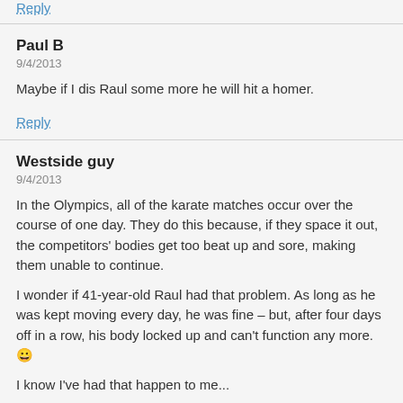Reply
Paul B
9/4/2013
Maybe if I dis Raul some more he will hit a homer.
Reply
Westside guy
9/4/2013
In the Olympics, all of the karate matches occur over the course of one day. They do this because, if they space it out, the competitors' bodies get too beat up and sore, making them unable to continue.
I wonder if 41-year-old Raul had that problem. As long as he was kept moving every day, he was fine – but, after four days off in a row, his body locked up and can't function any more. 😀
I know I've had that happen to me...